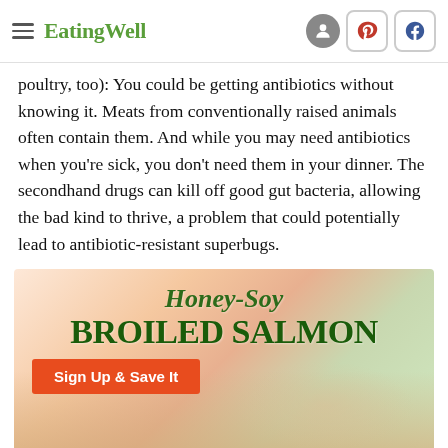EatingWell
poultry, too): You could be getting antibiotics without knowing it. Meats from conventionally raised animals often contain them. And while you may need antibiotics when you're sick, you don't need them in your dinner. The secondhand drugs can kill off good gut bacteria, allowing the bad kind to thrive, a problem that could potentially lead to antibiotic-resistant superbugs.
[Figure (infographic): Advertisement banner for Honey-Soy Broiled Salmon recipe with a 'Sign Up & Save It' button and a food background image.]